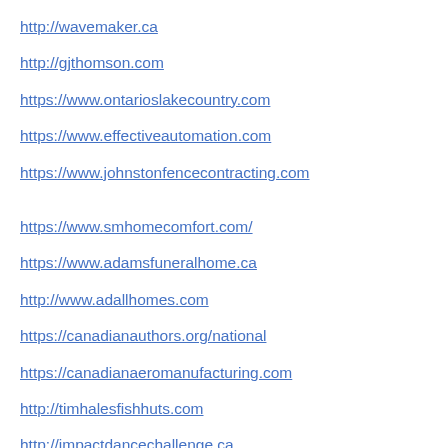http://wavemaker.ca
http://gjthomson.com
https://www.ontarioslakecountry.com
https://www.effectiveautomation.com
https://www.johnstonfencecontracting.com
https://www.smhomecomfort.com/
https://www.adamsfuneralhome.ca
http://www.adallhomes.com
https://canadianauthors.org/national
https://canadianaeromanufacturing.com
http://timhalesfishhuts.com
http://impactdancechallenge.ca